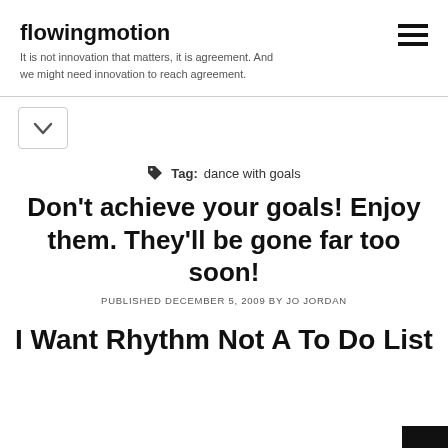flowingmotion
It is not innovation that matters, it is agreement. And we might need innovation to reach agreement.
[Figure (other): Hamburger menu icon (three horizontal lines)]
[Figure (other): Chevron down button in a rounded box]
Tag: dance with goals
Don’t achieve your goals! Enjoy them. They’ll be gone far too soon!
PUBLISHED DECEMBER 5, 2009 BY JO JORDAN
I Want Rhythm Not A To Do List